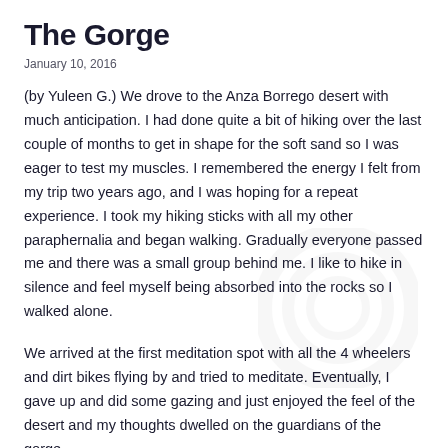The Gorge
January 10, 2016
(by Yuleen G.)  We drove to the Anza Borrego desert with much anticipation.  I had done quite a bit of hiking over the last couple of months to get in shape for the soft sand so I was eager to test my muscles.  I remembered the energy I felt from my trip two years ago, and I was hoping for a repeat experience.   I took my hiking sticks with all my other paraphernalia and began walking.  Gradually everyone passed me and there was a small group behind me.  I like to hike in silence and feel myself being absorbed into the rocks so I walked alone.
We arrived at the first meditation spot with all the 4 wheelers and dirt bikes flying by and tried to meditate.  Eventually, I gave up and did some gazing and just enjoyed the feel of the desert and my thoughts dwelled on the guardians of the gorge.